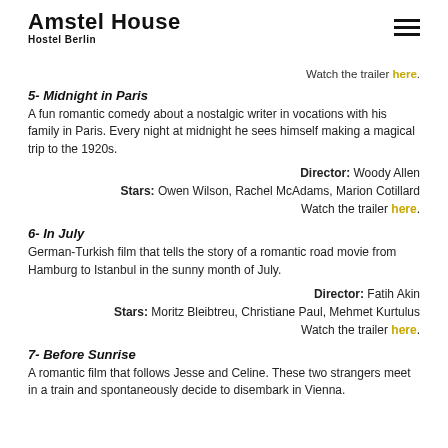Amstel House Hostel Berlin
Watch the trailer here.
5- Midnight in Paris
A fun romantic comedy about a nostalgic writer in vocations with his family in Paris. Every night at midnight he sees himself making a magical trip to the 1920s.
Director: Woody Allen
Stars: Owen Wilson, Rachel McAdams, Marion Cotillard
Watch the trailer here.
6- In July
German-Turkish film that tells the story of a romantic road movie from Hamburg to Istanbul in the sunny month of July.
Director: Fatih Akin
Stars: Moritz Bleibtreu, Christiane Paul, Mehmet Kurtulus
Watch the trailer here.
7- Before Sunrise
A romantic film that follows Jesse and Celine. These two strangers meet in a train and spontaneously decide to disembark in Vienna.